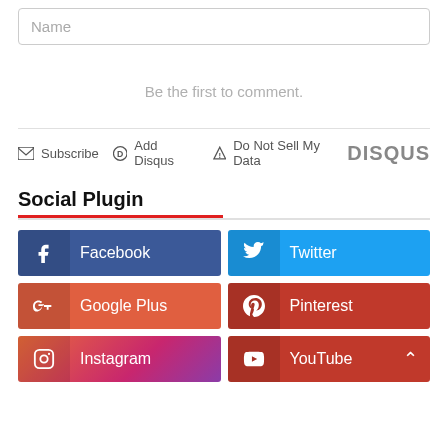[Figure (screenshot): Name input field with placeholder text 'Name']
Be the first to comment.
[Figure (screenshot): Disqus footer bar with Subscribe, Add Disqus, Do Not Sell My Data links and DISQUS logo]
Social Plugin
[Figure (infographic): Social plugin buttons grid: Facebook, Twitter, Google Plus, Pinterest, Instagram, YouTube]